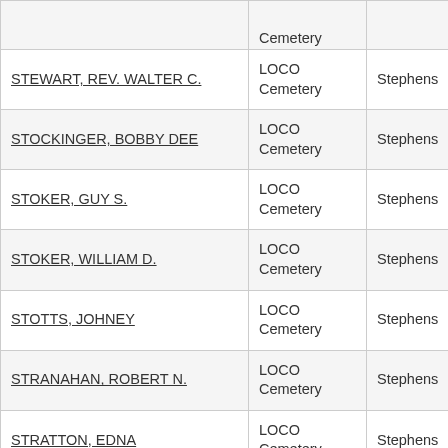| Name | Cemetery | County |
| --- | --- | --- |
|  | Cemetery |  |
| STEWART, REV. WALTER C. | LOCO Cemetery | Stephens |
| STOCKINGER, BOBBY DEE | LOCO Cemetery | Stephens |
| STOKER, GUY S. | LOCO Cemetery | Stephens |
| STOKER, WILLIAM D. | LOCO Cemetery | Stephens |
| STOTTS, JOHNEY | LOCO Cemetery | Stephens |
| STRANAHAN, ROBERT N. | LOCO Cemetery | Stephens |
| STRATTON, EDNA | LOCO Cemetery | Stephens |
| STRATTON, Wm (BILL) | LOCO Cemetery | Stephens |
| STRAWSER, IVA DALE | LOCO | Stephens |